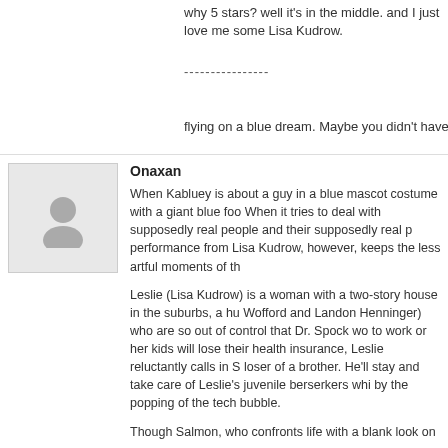why 5 stars? well it's in the middle. and I just love me some Lisa Kudrow.
----------------
flying on a blue dream. Maybe you didn't have any laughs because you don't
[Figure (photo): Generic user avatar placeholder icon showing a gray silhouette of a person on a light gray background]
Onaxan
When Kabluey is about a guy in a blue mascot costume with a giant blue foo When it tries to deal with supposedly real people and their supposedly real p performance from Lisa Kudrow, however, keeps the less artful moments of th
Leslie (Lisa Kudrow) is a woman with a two-story house in the suburbs, a hu Wofford and Landon Henninger) who are so out of control that Dr. Spock wo to work or her kids will lose their health insurance, Leslie reluctantly calls in S loser of a brother. He'll stay and take care of Leslie's juvenile berserkers whi by the popping of the tech bubble.
Though Salmon, who confronts life with a blank look on his face, struggles a marginal aptitude for it. As soon as he does, Leslie feels her place as mother can help pay for daycare. Salman gets stuck in big blue suit that makes him l plopped along the side of the road to hand out fliers for office space in the int
Being a weird looking blue thing allows Salman to bond with his almost-feral cashier (Angela Sarafyan), enrage an old woman (Teri Garr), discover that Le Morgan) and gain the confidence to act that he's lacked his entire life. The st endings that actually works for this movie.
Every moment that Salman is in costume, Kabluey is funny, clever and visua Kabluey is just another indy flick trying to find humor in how much life sucks. livened up only by Kudrow's fairly powerful performance in a cramped role ar engaging in one of the greatest non-profane screaming matches in cinema h absence, her fear of being encroached upon as a parent and her adulterous heart of this tale. Her character is missing for too much of the film, though, as Salman. Kabluey is balanced between a character with plenty of depth but ne but not enough depth. If it had been about Leslie putting on the hydrocephal 100% better.